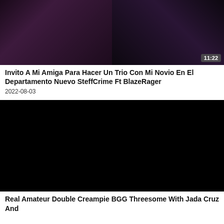[Figure (photo): Thumbnail image of two tattooed people]
Invito A Mi Amiga Para Hacer Un Trio Con Mi Novio En El Departamento Nuevo SteffCrime Ft BlazeRager
2022-08-03
[Figure (photo): Black/dark video thumbnail placeholder]
Real Amateur Double Creampie BGG Threesome With Jada Cruz And